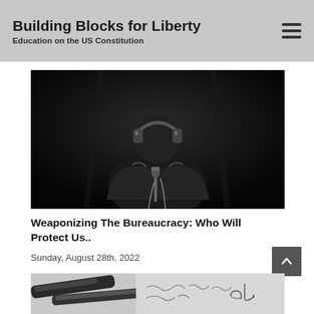Building Blocks for Liberty
Education on the US Constitution
[Figure (photo): Black and white close-up photo of a person wearing headphones and a dark jacket, with microphone stands visible, suggesting a broadcast or recording setting.]
Weaponizing The Bureaucracy: Who Will Protect Us..
Sunday, August 28th, 2022
[Figure (photo): Black and white photo showing what appears to be a pen or writing instrument alongside papers with cursive handwriting visible.]